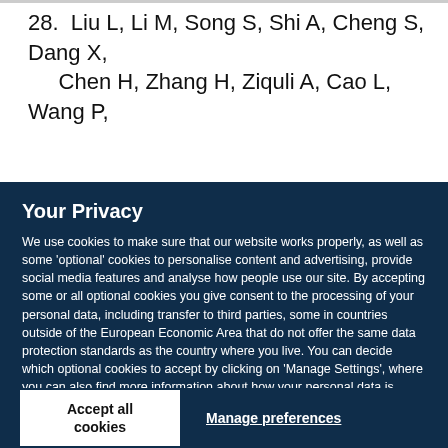28.  Liu L, Li M, Song S, Shi A, Cheng S, Dang X, Chen H, Zhang H, Ziquli A, Cao L, Wang P,
Your Privacy
We use cookies to make sure that our website works properly, as well as some 'optional' cookies to personalise content and advertising, provide social media features and analyse how people use our site. By accepting some or all optional cookies you give consent to the processing of your personal data, including transfer to third parties, some in countries outside of the European Economic Area that do not offer the same data protection standards as the country where you live. You can decide which optional cookies to accept by clicking on 'Manage Settings', where you can also find more information about how your personal data is processed. Further information can be found in our privacy policy.
Accept all cookies
Manage preferences